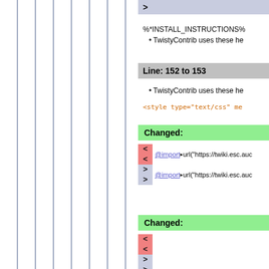>
%*INSTALL_INSTRUCTIONS%
TwistyContrib uses these he
Line: 152 to 153
TwistyContrib uses these he
<style type="text/css" me
Changed:
< @import url("https://twiki.esc.auc
< @import url("https://twiki.esc.auc
> @import url("https://twiki.esc.auc
> @import url("https://twiki.esc.auc
Changed:
<
<
>
>